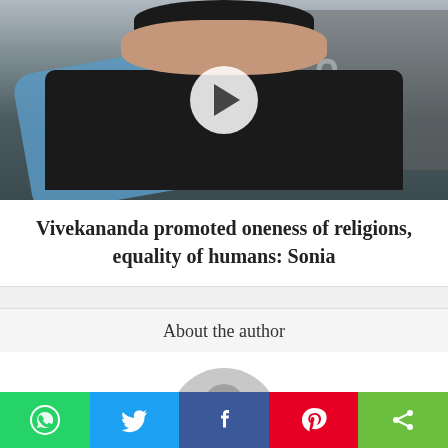[Figure (photo): Photo of Sonia Gandhi speaking at a podium with a dark background banner, a play button overlay in the center]
Vivekananda promoted oneness of religions, equality of humans: Sonia
About the author
[Figure (illustration): Generic grey circular avatar/placeholder with a person silhouette icon]
Social share buttons: WhatsApp, Twitter, Facebook, Pinterest, Share